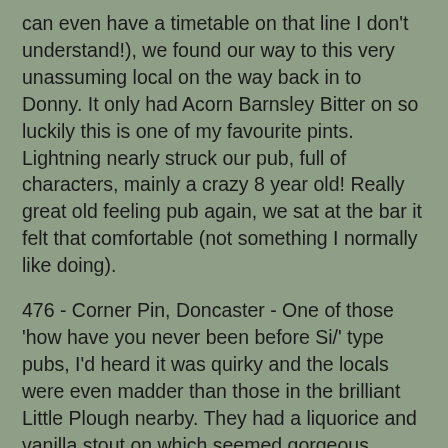can even have a timetable on that line I don't understand!), we found our way to this very unassuming local on the way back in to Donny.  It only had Acorn Barnsley Bitter on so luckily this is one of my favourite pints.  Lightning nearly struck our pub, full of characters, mainly a crazy 8 year old!  Really great old feeling pub again, we sat at the bar it felt that comfortable (not something I normally like doing).
476 - Corner Pin, Doncaster - One of those 'how have you never been before Si/' type pubs, I'd heard it was quirky and the locals were even madder than those in the brilliant Little Plough nearby.  They had a liquorice and vanilla stout on which seemed gorgeous though was hesitant as it said something about being designed for women!  In any case, I was ID'd - yes ID'd for the first time in years.  Wow!  I argued and got served eventually as I don't carry any but could not believe it.  Think I was bemoaning going into the over 30's only pub in Shrewsbury without an eyebrow being raised not that many weeks ago!  Tom and Ben were ok.  Even the local at the bar then claimed he thought I was about 16.  I wondered if it was one of their crazy banter things but apparantly not.  Not to detract, it was a lovely pub and a guy